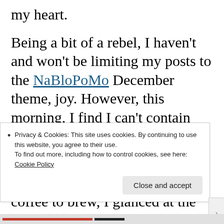my heart.
Being a bit of a rebel, I haven't and won't be limiting my posts to the NaBloPoMo December theme, joy. However, this morning, I find I can't contain my joy, so here I am, writing about joy.
This morning, as I waited for my coffee to brew, I glanced at the calendar and
Privacy & Cookies: This site uses cookies. By continuing to use this website, you agree to their use. To find out more, including how to control cookies, see here: Cookie Policy
Close and accept